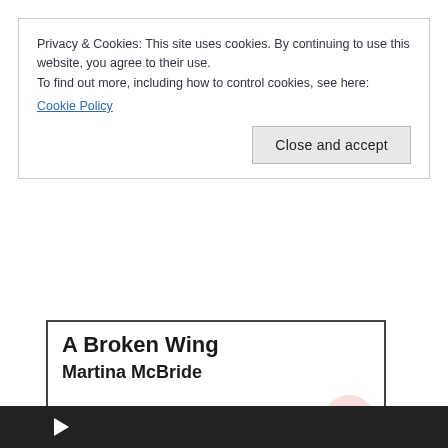Privacy & Cookies: This site uses cookies. By continuing to use this website, you agree to their use.
To find out more, including how to control cookies, see here:
Cookie Policy
Close and accept
A Broken Wing
Martina McBride
Listen live
[Figure (screenshot): Bottom video player bar, dark background with white play triangle icon]